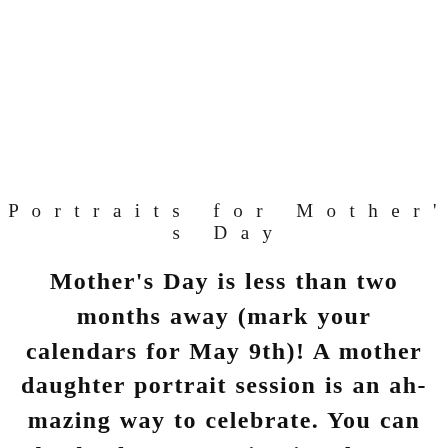Portraits for Mother's Day
Mother's Day is less than two months away (mark your calendars for May 9th)! A mother daughter portrait session is an ah-mazing way to celebrate. You can also book your session in advance, and order prints